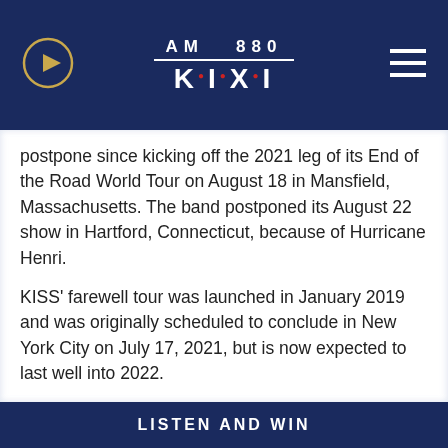AM 880 K·I·X·I
postpone since kicking off the 2021 leg of its End of the Road World Tour on August 18 in Mansfield, Massachusetts. The band postponed its August 22 show in Hartford, Connecticut, because of Hurricane Henri.
KISS' farewell tour was launched in January 2019 and was originally scheduled to conclude in New York City on July 17, 2021, but is now expected to last well into 2022.
Copyright © 2021, ABC Audio. All rights reserved.
LISTEN AND WIN